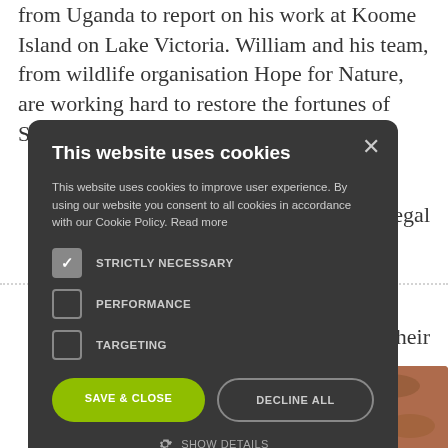from Uganda to report on his work at Koome Island on Lake Victoria. William and his team, from wildlife organisation Hope for Nature, are working hard to restore the fortunes of Singida tilapia fish, which were [obscured]ng and illegal
about their
[Figure (screenshot): Cookie consent modal dialog on a dark grey background with title 'This website uses cookies', body text, checkboxes for STRICTLY NECESSARY (checked), PERFORMANCE, and TARGETING, a green SAVE & CLOSE button, a DECLINE ALL button, and a SHOW DETAILS option.]
[Figure (photo): Close-up photo of dried fish or wood chips in brown/orange tones at bottom of image.]